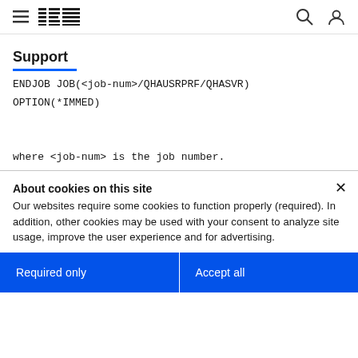IBM Support
Support
where <job-num> is the job number.
About cookies on this site
Our websites require some cookies to function properly (required). In addition, other cookies may be used with your consent to analyze site usage, improve the user experience and for advertising.

For more information, please review your Cookie preferences options and IBM's privacy statement.
Required only
Accept all